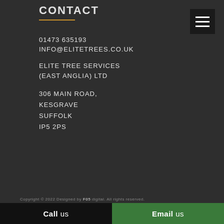CONTACT
01473 635193
INFO@ELITETREES.CO.UK
ELITE TREE SERVICES
(EAST ANGLIA) LTD
306 MAIN ROAD,
KESGRAVE
SUFFOLK
IP5 2PS
Copyright © 2022 Designed by F05 digital. All rights reserved.
Call us
Email us